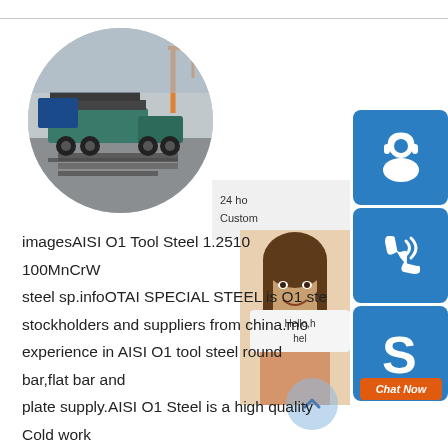[Figure (photo): Circular cropped photo of steel plates being transported on a flatbed truck at a steel yard, with a crane visible in the background.]
[Figure (infographic): Customer service widget panel on the right side showing: 24-hour customer support icon (blue box with headset icon), phone/call icon (blue box), Skype icon (blue box with S logo), a photo of a smiling woman, a chat bubble saying Hello/help, and a Chat Now button in orange.]
imagesAISI O1 Tool Steel 1.2510 100MnCrW... steel sp.infoOTAI SPECIAL STEEL is O1 ste... stockholders and suppliers from china.mo... experience in AISI O1 tool steel round bar,flat bar and plate supply.AISI O1 Steel is a high quality Cold work tool steel,It belong to the high quality high carbon alloy tool steel.Oil QuenchedHigh Strength Plat Steel Material